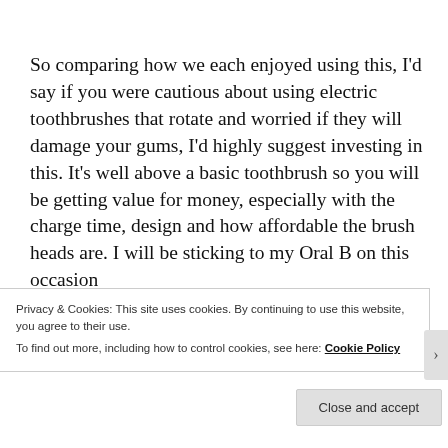So comparing how we each enjoyed using this, I'd say if you were cautious about using electric toothbrushes that rotate and worried if they will damage your gums, I'd highly suggest investing in this. It's well above a basic toothbrush so you will be getting value for money, especially with the charge time, design and how affordable the brush heads are. I will be sticking to my Oral B on this occasion
Privacy & Cookies: This site uses cookies. By continuing to use this website, you agree to their use.
To find out more, including how to control cookies, see here: Cookie Policy
Close and accept